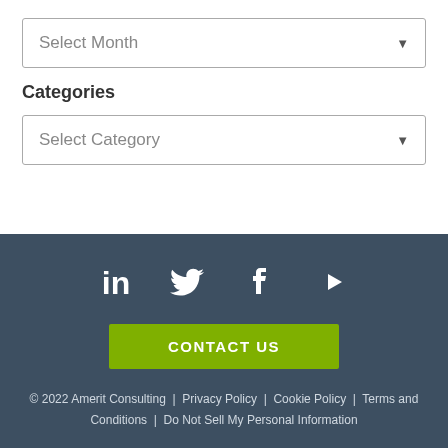[Figure (screenshot): Dropdown box with placeholder text 'Select Month' and a downward arrow]
Categories
[Figure (screenshot): Dropdown box with placeholder text 'Select Category' and a downward arrow]
[Figure (infographic): Social media icons: LinkedIn, Twitter, Facebook, YouTube]
CONTACT US
© 2022 Amerit Consulting  |  Privacy Policy  |  Cookie Policy  |  Terms and Conditions  |  Do Not Sell My Personal Information